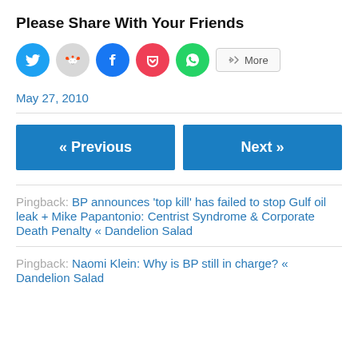Please Share With Your Friends
[Figure (infographic): Social share buttons: Twitter (blue circle), Reddit (grey circle), Facebook (blue circle), Pocket (red circle), WhatsApp (green circle), More button]
May 27, 2010
« Previous
Next »
Pingback: BP announces 'top kill' has failed to stop Gulf oil leak + Mike Papantonio: Centrist Syndrome & Corporate Death Penalty « Dandelion Salad
Pingback: Naomi Klein: Why is BP still in charge? « Dandelion Salad